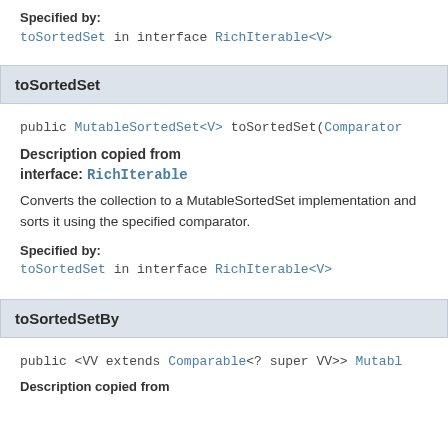Specified by:
toSortedSet in interface RichIterable<V>
toSortedSet
public MutableSortedSet<V> toSortedSet(Comparator
Description copied from interface: RichIterable
Converts the collection to a MutableSortedSet implementation and sorts it using the specified comparator.
Specified by:
toSortedSet in interface RichIterable<V>
toSortedSetBy
public <VV extends Comparable<? super VV>> Mutable
Description copied from